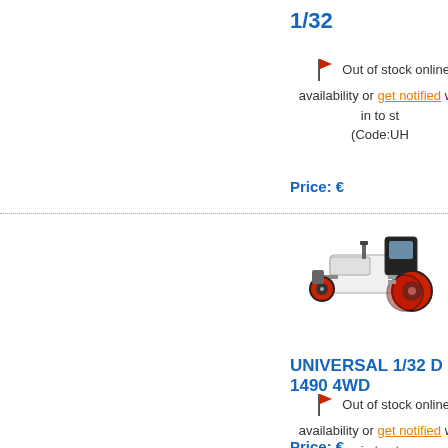1/32
Out of stock online, availability or get notified wh in to st (Code:UH
Price: €
[Figure (photo): Model tractor toy - Universal 1/32 D 1490 4WD, white and red with black cab]
UNIVERSAL 1/32 D 1490 4WD
Out of stock online, availability or get notified wh in to st (Code:UH
Price: €